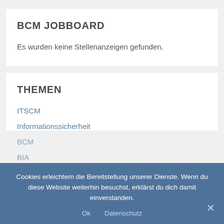BCM JOBBOARD
Es wurden keine Stellenanzeigen gefunden.
THEMEN
ITSCM
Informationssicherheit
BCM
BIA
Cookies erleichtern die Bereitstellung unserer Dienste. Wenn du diese Website weiterhin besuchst, erklärst du dich damit einverstanden.
Ok
Datenschutz